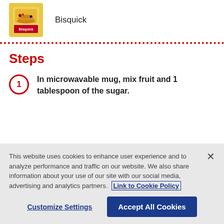[Figure (photo): Bisquick pancake mix box product image]
Bisquick
Steps
In microwavable mug, mix fruit and 1 tablespoon of the sugar.
This website uses cookies to enhance user experience and to analyze performance and traffic on our website. We also share information about your use of our site with our social media, advertising and analytics partners. Link to Cookie Policy
Customize Settings
Accept All Cookies